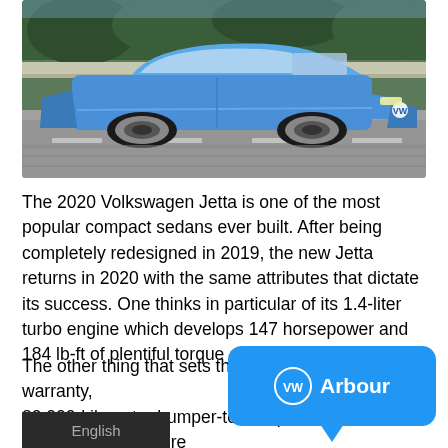[Figure (photo): Blue Volkswagen Tiguan SUV driving on a highway with trees in the background]
The 2020 Volkswagen Jetta is one of the most popular compact sedans ever built. After being completely redesigned in 2019, the new Jetta returns in 2020 with the same attributes that dictate its success. One thinks in particular of its 1.4-liter turbo engine which develops 147 horsepower and 184 lb-ft of plentiful torque at low revs.
The other thing that sets the new Jetta apart is its warranty, 80,000-kilometer bumper-to-bumper warranty, which is more than what most of the Volkswagen sedan's rivals offer. Then there is its equipment and its versions which have something for everyone.
[Figure (logo): VW Arbour blue speech bubble badge with Volkswagen logo and text Arbour]
[Figure (other): English language selector badge in dark background]